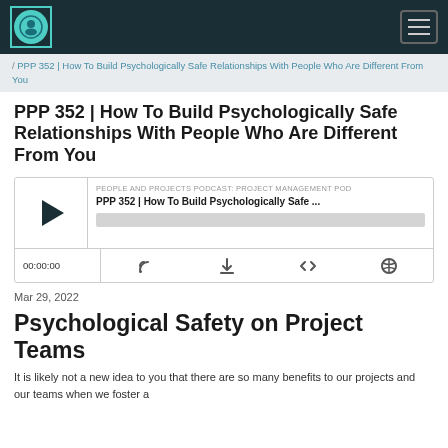People and Projects Podcast
/ PPP 352 | How To Build Psychologically Safe Relationships With People Who Are Different From You
PPP 352 | How To Build Psychologically Safe Relationships With People Who Are Different From You
[Figure (other): Audio player widget showing podcast episode PPP 352 | How To Build Psychologically Safe... with play button, progress bar, timestamp 00:00:00 and control icons]
Mar 29, 2022
Psychological Safety on Project Teams
It is likely not a new idea to you that there are so many benefits to our projects and our teams when we foster a